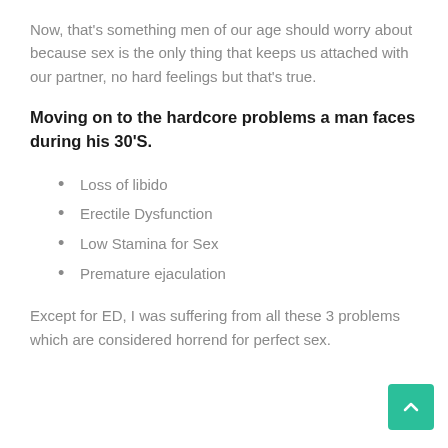Now, that's something men of our age should worry about because sex is the only thing that keeps us attached with our partner, no hard feelings but that's true.
Moving on to the hardcore problems a man faces during his 30'S.
Loss of libido
Erectile Dysfunction
Low Stamina for Sex
Premature ejaculation
Except for ED, I was suffering from all these 3 problems which are considered horrend… for perfect sex.